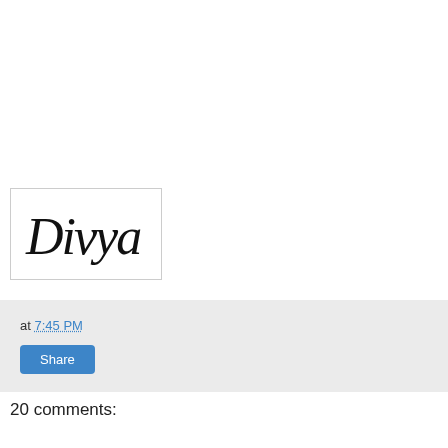[Figure (logo): Cursive script signature/logo reading 'Divya' in black ink on white background with thin border]
at 7:45 PM
Share
20 comments: